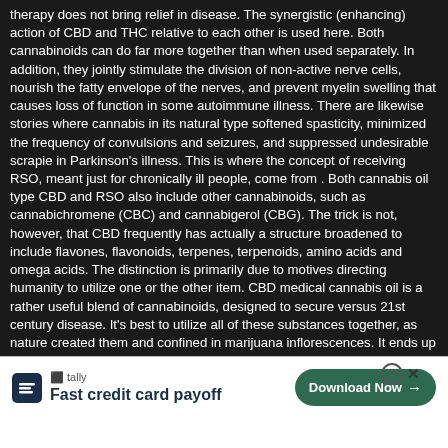therapy does not bring relief in disease. The synergistic (enhancing) action of CBD and THC relative to each other is used here. Both cannabinoids can do far more together than when used separately. In addition, they jointly stimulate the division of non-active nerve cells, nourish the fatty envelope of the nerves, and prevent myelin swelling that causes loss of function in some autoimmune illness. There are likewise stories where cannabis in its natural type softened spasticity, minimized the frequency of convulsions and seizures, and suppressed undesirable scrapie in Parkinson's illness. This is where the concept of receiving RSO, meant just for chronically ill people, come from . Both cannabis oil type CBD and RSO also include other cannabinoids, such as cannabichromene (CBC) and cannabigerol (CBG). The trick is not, however, that CBD frequently has actually a structure broadened to include flavones, flavonoids, terpenes, terpenoids, amino acids and omega acids. The distinction is primarily due to motives directing humanity to utilize one or the other item. CBD medical cannabis oil is a rather useful blend of cannabinoids, designed to secure versus 21st century disease. It's best to utilize all of these substances together, as nature created them and confined in marijuana inflorescences. It ends up that cannabidiol boosts the impacts of cannabichromene (CBC) and cannabigerol (CBG), and flavonoids or flavones enhance the absorption of these compounds. Omega-6 and omega-3 extremely nurture the body and do not enable to alter, which speed up the aging process of the organism and improve the development of cancer. Oil of cannabis in a kind of pastime APR consists of small quantities of CBD, stabilized by the existence of THC. – Modern clinical research study reveals that CBD + THC cope with severe autoimmune illness, while CBC or CBG reveal very little activity in the existence of both substances, just like flavonoids, terpenes or terpens, for that reason their content in the option seems to be unnecessary. In addition, the marijuana plant, when absorbed totally, even by people with minimal quantities, marked a new era in which humankind discover what
[Figure (screenshot): Advertisement overlay: Tally app ad with 'Fast credit card payoff' text and 'Download Now' button. Close X button visible in top right of ad area.]